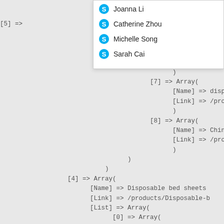[Figure (screenshot): A popup/dropdown UI element showing Skype-style user icons with names: Joanna Li (partially visible), Catherine Zhou, Michelle Song, Sarah Cai]
[5] =>
[6] =>
[Link] => /produ
)
[7] => Array(
    [Name] => dispo
    [Link] => /produ
    )
[8] => Array(
    [Name] => China
    [Link] => /produ
    )
)
)
[4] => Array(
    [Name] => Disposable bed sheets
    [Link] => /products/Disposable-b
    [List] => Array(
        [0] => Array(